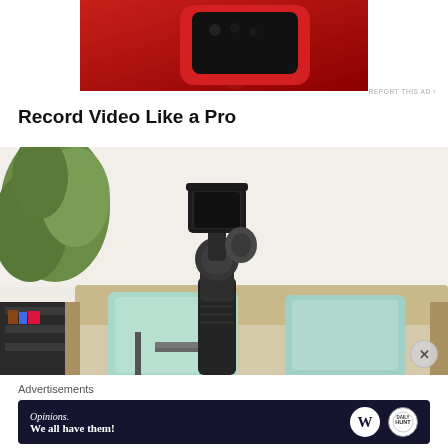[Figure (photo): Top portion of a cropped photo showing a red smartphone on a red background]
REPORT THIS AD
Record Video Like a Pro
[Figure (photo): Photo of a smartphone gimbal stabilizer mounted on a stand placed in front of a sofa with mint cushions and a plant in the background]
Advertisements
[Figure (other): Advertisement banner with dark blue background showing 'Opinions. We all have them!' text with WordPress and another logo]